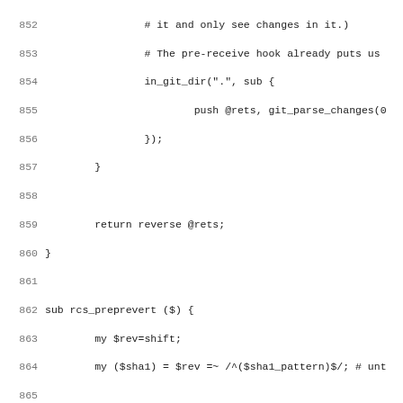Code listing lines 852-883, Perl source code for rcs_preprevert function